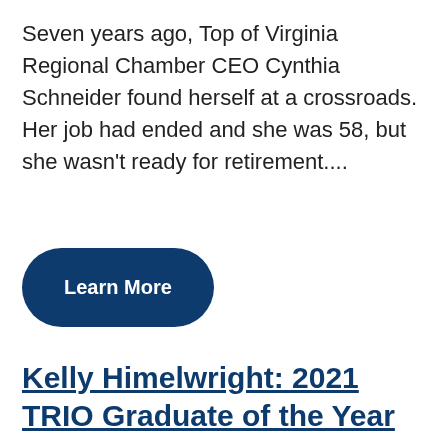Seven years ago, Top of Virginia Regional Chamber CEO Cynthia Schneider found herself at a crossroads. Her job had ended and she was 58, but she wasn't ready for retirement....
[Figure (other): Dark navy blue rounded rectangle button with white bold text reading 'Learn More']
Kelly Himelwright: 2021 TRIO Graduate of the Year